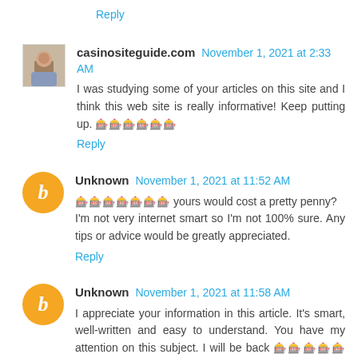Reply
casinositeguide.com November 1, 2021 at 2:33 AM
I was studying some of your articles on this site and I think this web site is really informative! Keep putting up. 🎰🎰🎰🎰🎰🎰
Reply
Unknown November 1, 2021 at 11:52 AM
🎰🎰🎰🎰🎰🎰🎰 yours would cost a pretty penny?
I'm not very internet smart so I'm not 100% sure. Any tips or advice would be greatly appreciated.
Reply
Unknown November 1, 2021 at 11:58 AM
I appreciate your information in this article. It's smart, well-written and easy to understand. You have my attention on this subject. I will be back 🎰🎰🎰🎰🎰🎰